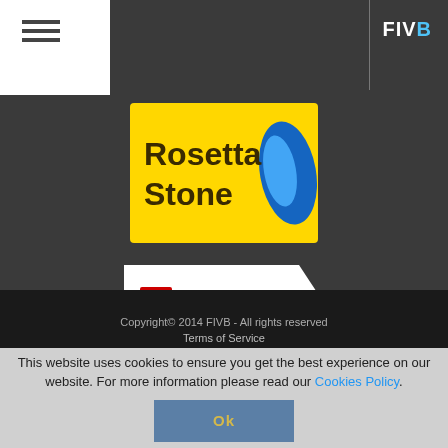[Figure (logo): Hamburger menu icon (three horizontal lines) in top-left white box]
[Figure (logo): FIVB logo in white text with blue B, top-right of dark header]
[Figure (logo): Rosetta Stone logo - yellow background with blue leaf/swoosh shape and text Rosetta Stone]
[Figure (logo): DB Schenker logo - white background with DB red square logo and SCHENKER text, chevron shape]
Copyright© 2014 FIVB - All rights reserved
Terms of Service
This website uses cookies to ensure you get the best experience on our website. For more information please read our Cookies Policy.
Ok